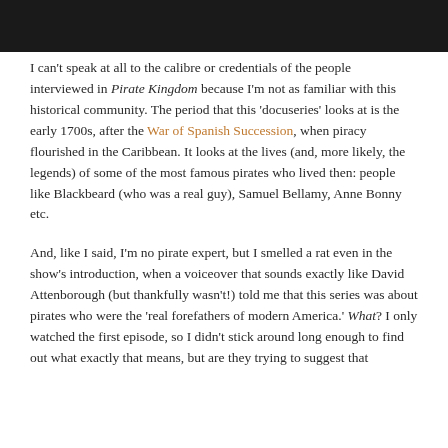[Figure (photo): Dark photograph at the top of the page, appears to show a dimly lit scene]
I can't speak at all to the calibre or credentials of the people interviewed in Pirate Kingdom because I'm not as familiar with this historical community. The period that this 'docuseries' looks at is the early 1700s, after the War of Spanish Succession, when piracy flourished in the Caribbean. It looks at the lives (and, more likely, the legends) of some of the most famous pirates who lived then: people like Blackbeard (who was a real guy), Samuel Bellamy, Anne Bonny etc.
And, like I said, I'm no pirate expert, but I smelled a rat even in the show's introduction, when a voiceover that sounds exactly like David Attenborough (but thankfully wasn't!) told me that this series was about pirates who were the 'real forefathers of modern America.' What? I only watched the first episode, so I didn't stick around long enough to find out what exactly that means, but are they trying to suggest that